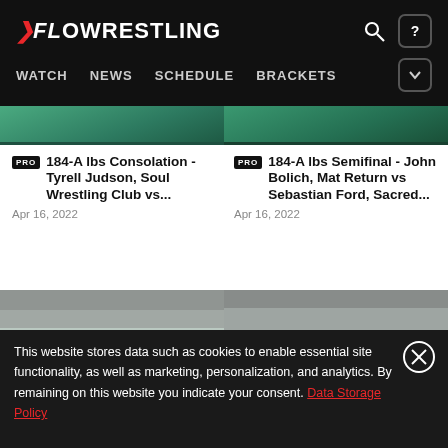FLOWRESTLING — WATCH NEWS SCHEDULE BRACKETS
[Figure (screenshot): Partial wrestling match thumbnail strip at top]
PRO 184-A lbs Consolation - Tyrell Judson, Soul Wrestling Club vs...
Apr 16, 2022
PRO 184-A lbs Semifinal - John Bolich, Mat Return vs Sebastian Ford, Sacred...
Apr 16, 2022
[Figure (photo): Wrestling match photo — left card, overhead arena view]
[Figure (photo): Wrestling match photo — right card, overhead arena view]
This website stores data such as cookies to enable essential site functionality, as well as marketing, personalization, and analytics. By remaining on this website you indicate your consent. Data Storage Policy